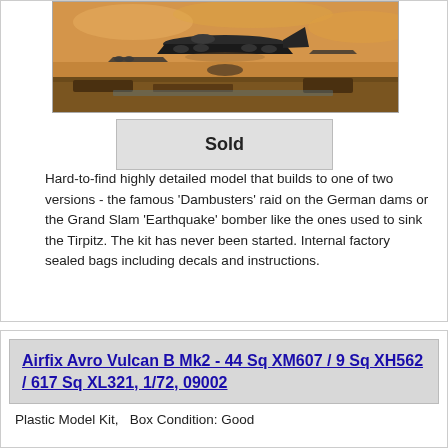[Figure (illustration): Painting of WWII Lancaster bomber aircraft in flight with other aircraft and landscape below, warm orange/brown tones]
Sold
Hard-to-find highly detailed model that builds to one of two versions - the famous 'Dambusters' raid on the German dams or the Grand Slam 'Earthquake' bomber like the ones used to sink the Tirpitz. The kit has never been started. Internal factory sealed bags including decals and instructions.
Airfix Avro Vulcan B Mk2 - 44 Sq XM607 / 9 Sq XH562 / 617 Sq XL321, 1/72, 09002
Plastic Model Kit,   Box Condition: Good